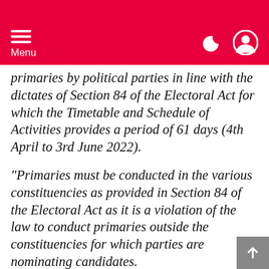Menu
primaries by political parties in line with the dictates of Section 84 of the Electoral Act for which the Timetable and Schedule of Activities provides a period of 61 days (4th April to 3rd June 2022).
“Primaries must be conducted in the various constituencies as provided in Section 84 of the Electoral Act as it is a violation of the law to conduct primaries outside the constituencies for which parties are nominating candidates.
READ ALSO: COURAGEOUS Islamic Cleric sacked for criticising Buhari speaks after securing a new better job